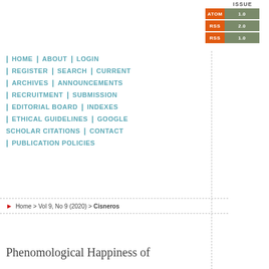ISSUE
[Figure (other): Feed buttons: ATOM 1.0, RSS 2.0, RSS 1.0]
| HOME | ABOUT | LOGIN
| REGISTER | SEARCH | CURRENT
| ARCHIVES | ANNOUNCEMENTS
| RECRUITMENT | SUBMISSION
| EDITORIAL BOARD | INDEXES
| ETHICAL GUIDELINES | GOOGLE SCHOLAR CITATIONS | CONTACT
| PUBLICATION POLICIES
Home > Vol 9, No 9 (2020) > Cisneros
Phenomological Happiness of